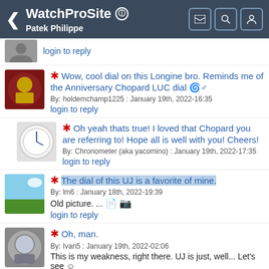WatchProSite — Patek Philippe
login to reply
* Wow, cool dial on this Longine bro. Reminds me of the Anniversary Chopard LUC dial
By: holdemchamp1225 : January 19th, 2022-16:35
login to reply
* Oh yeah thats true! I loved that Chopard you are referring to! Hope all is well with you! Cheers!
By: Chronometer (aka yacomino) : January 19th, 2022-17:35
login to reply
* The dial of this UJ is a favorite of mine.
By: lm6 : January 18th, 2022-19:39
Old picture. ...
login to reply
* Oh, man.
By: Ivan5 : January 19th, 2022-02:06
This is my weakness, right there. UJ is just, well... Let's see ☺